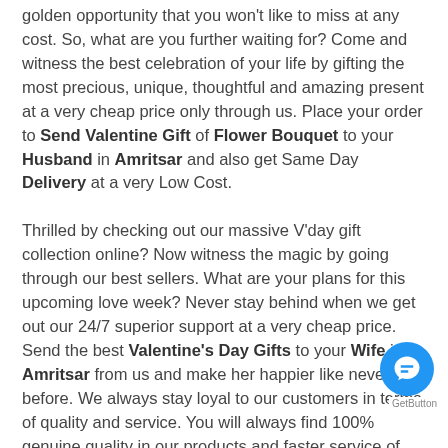golden opportunity that you won't like to miss at any cost. So, what are you further waiting for? Come and witness the best celebration of your life by gifting the most precious, unique, thoughtful and amazing present at a very cheap price only through us. Place your order to Send Valentine Gift of Flower Bouquet to your Husband in Amritsar and also get Same Day Delivery at a very Low Cost.
Thrilled by checking out our massive V'day gift collection online? Now witness the magic by going through our best sellers. What are your plans for this upcoming love week? Never stay behind when we get out our 24/7 superior support at a very cheap price. Send the best Valentine's Day Gifts to your Wife in Amritsar from us and make her happier like never before. We always stay loyal to our customers in terms of quality and service. You will always find 100% genuine quality in our products and faster service of delivery. You will find some of the most exotic and delicate blossoms in our store even at the pocket-friendly budget